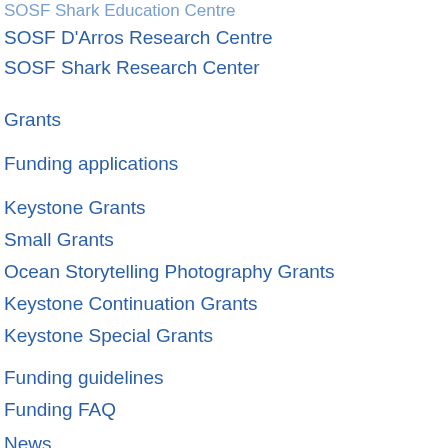SOSF Shark Education Centre
SOSF D'Arros Research Centre
SOSF Shark Research Center
Grants
Funding applications
Keystone Grants
Small Grants
Ocean Storytelling Photography Grants
Keystone Continuation Grants
Keystone Special Grants
Funding guidelines
Funding FAQ
News